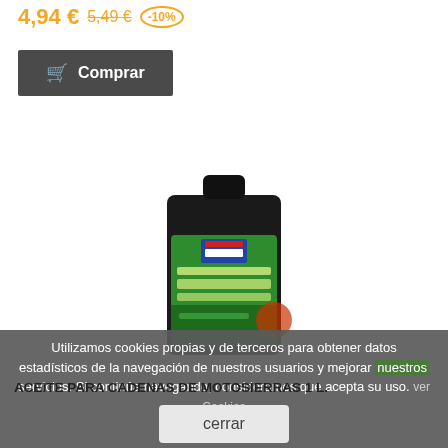4,94 € 5,49 € -10%
Comprar
[Figure (photo): Black plastic 1-litre bottle of chainsaw chain oil with a green label showing a chainsaw and grass background, brand logo visible on label.]
Utilizamos cookies propias y de terceros para obtener datos estadísticos de la navegación de nuestros usuarios y mejorar nuestros servicios. Si continúa navegando, consideramos que acepta su uso. ver Cookies
ACEITE PARA CADENAS DE MOTOSIERRAS 1 L.
cerrar